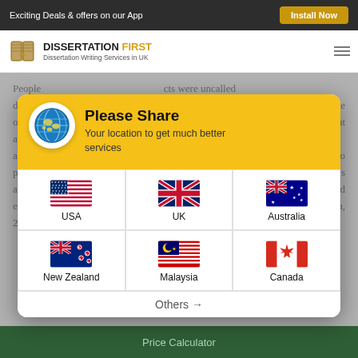Exciting Deals & offers on our App  |  Install Now
[Figure (logo): Dissertation First logo with book icon and brand name]
People ... acts were uncalled ... designer labels (W... name of House of ... not able to live up ... said that although ... the brand image in ... and they preferred ... anted to purchase ... tore had quite a tr... s aim of being regarded as an upscale brand. The main mid-scale brands stocked earlier by the fashion retailer included Country Casuals and Jigsaw (English, 2010). However, it discontinued them and got some new concession brand
[Figure (infographic): Please Share location modal overlay with flag grid for USA, UK, Australia, New Zealand, Malaysia, Canada and Others link]
Price Calculator